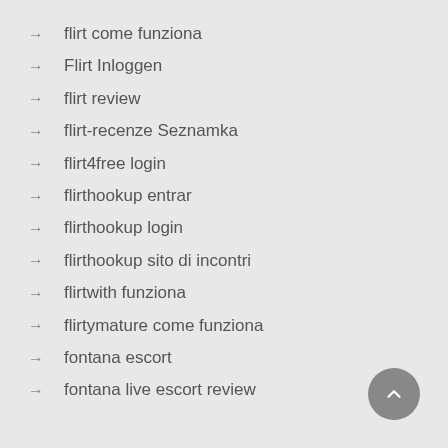flirt come funziona
Flirt Inloggen
flirt review
flirt-recenze Seznamka
flirt4free login
flirthookup entrar
flirthookup login
flirthookup sito di incontri
flirtwith funziona
flirtymature come funziona
fontana escort
fontana live escort review